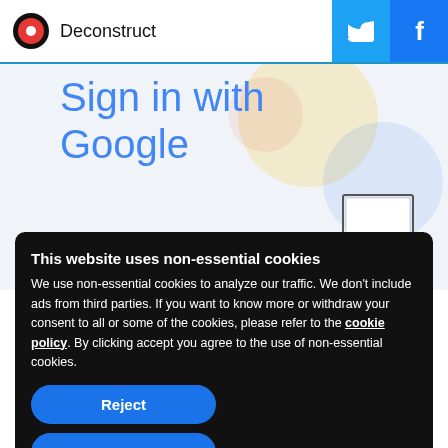Deconstruct
[Figure (screenshot): Sign in with Google page background screenshot with Google logo, decorative circles, and a laptop illustration]
This website uses non-essential cookies
We use non-essential cookies to analyze our traffic. We don't include ads from third parties. If you want to know more or withdraw your consent to all or some of the cookies, please refer to the cookie policy. By clicking accept you agree to the use of non-essential cookies.
Reject
Accept